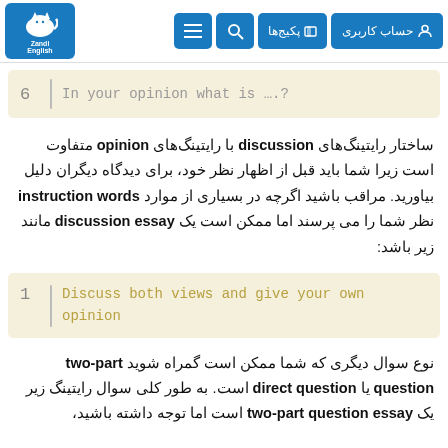Zandi English — حساب کاربری | پکیج‌ها | Search | Menu
6   In your opinion what is ….?
ساختار رایتینگ‌های discussion با رایتینگ‌های opinion متفاوت است زیرا شما باید قبل از اظهار نظر خود، برای دیدگاه دیگران دلیل بیاورید. مراقب باشید اگرچه در بسیاری از موارد instruction words نظر شما را می پرسند اما ممکن است یک discussion essay مانند زیر باشد:
1   Discuss both views and give your own opinion
نوع سوال دیگری که شما ممکن است گمراه شوید two-part question یا direct question است. به طور کلی سوال رایتینگ زیر یک two-part question essay است اما توجه داشته باشید،